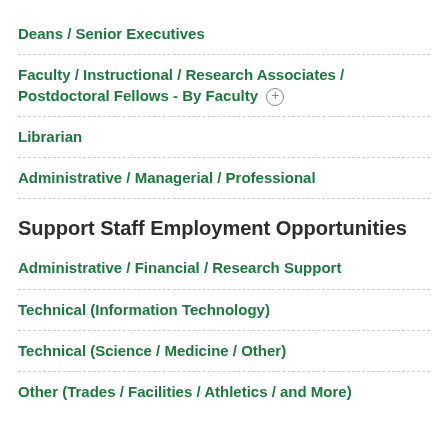Deans / Senior Executives
Faculty / Instructional / Research Associates / Postdoctoral Fellows - By Faculty +
Librarian
Administrative / Managerial / Professional
Support Staff Employment Opportunities
Administrative / Financial / Research Support
Technical (Information Technology)
Technical (Science / Medicine / Other)
Other (Trades / Facilities / Athletics / and More)